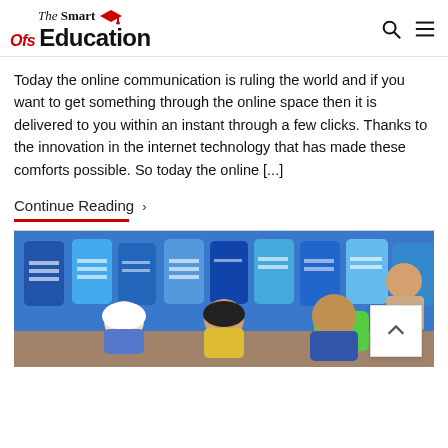The Smart Ofs Education
Today the online communication is ruling the world and if you want to get something through the online space then it is delivered to you within an instant through a few clicks. Thanks to the innovation in the internet technology that has made these comforts possible. So today the online [...]
Continue Reading >
[Figure (photo): Children sitting on the floor with colorful backpacks lined up against the wall behind them, in a classroom or school setting.]